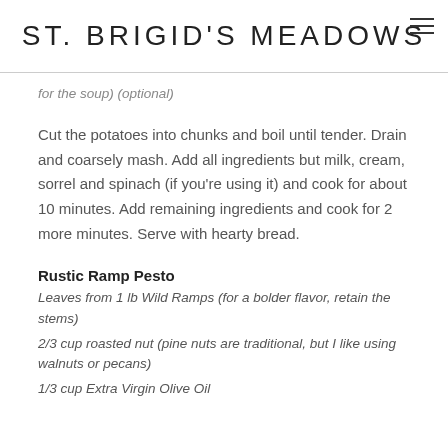ST. BRIGID'S MEADOWS
for the soup) (optional)
Cut the potatoes into chunks and boil until tender. Drain and coarsely mash. Add all ingredients but milk, cream, sorrel and spinach (if you're using it) and cook for about 10 minutes. Add remaining ingredients and cook for 2 more minutes. Serve with hearty bread.
Rustic Ramp Pesto
Leaves from 1 lb Wild Ramps (for a bolder flavor, retain the stems)
2/3 cup roasted nut (pine nuts are traditional, but I like using walnuts or pecans)
1/3 cup Extra Virgin Olive Oil